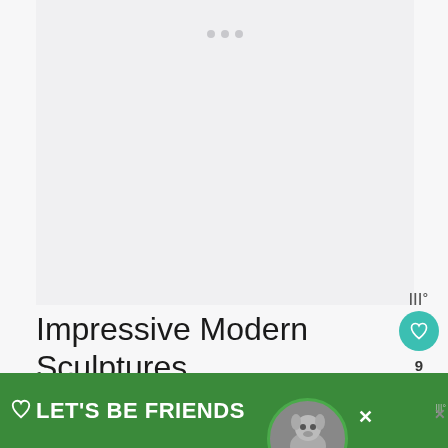[Figure (photo): Large image placeholder area (image not loaded), with three small gray dots at top center indicating loading state]
[Figure (other): Social widget sidebar with Taboola logo, teal heart button, count '9', and share button]
Impressive Modern Sculptures
As is often the case with the...
[Figure (other): Green advertisement banner reading LET'S BE FRIENDS with a husky dog image and close buttons]